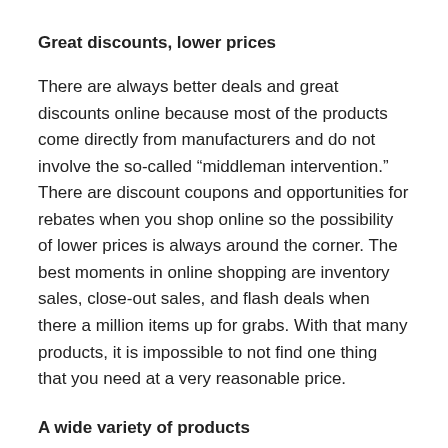Great discounts, lower prices
There are always better deals and great discounts online because most of the products come directly from manufacturers and do not involve the so-called “middleman intervention.” There are discount coupons and opportunities for rebates when you shop online so the possibility of lower prices is always around the corner. The best moments in online shopping are inventory sales, close-out sales, and flash deals when there a million items up for grabs. With that many products, it is impossible to not find one thing that you need at a very reasonable price.
A wide variety of products
Online stores do not have the burden of keeping up with a warehouse and a retail store. Most of them have huge